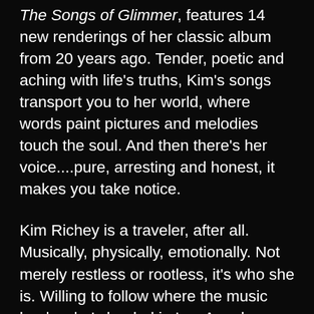The Songs of Glimmer, features 14 new renderings of her classic album from 20 years ago. Tender, poetic and aching with life's truths, Kim's songs transport you to her world, where words paint pictures and melodies touch the soul. And then there's her voice....pure, arresting and honest, it makes you take notice.
Kim Richey is a traveler, after all. Musically, physically, emotionally. Not merely restless or rootless, it's who she is. Willing to follow where the music leads, she's landed in Los Angeles, Nashville, London, working with a who's who of producers – Richard Bennett, Hugh Padgham, Bill Bottrell, Angelo, Giles Martin. She's attracted a coterie of top-shelf genre definers — Jason Isbell, Trisha